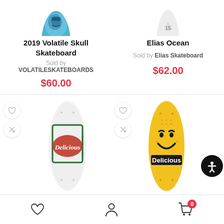[Figure (photo): Top portion of a blue/teal skateboard deck with skull graphic, partially cropped]
[Figure (photo): Top portion of a white skateboard deck with '15' marking, partially cropped]
2019 Volatile Skull Skateboard
Elias Ocean
Sold by VOLATILESKATEBOARDS
Sold by Elias Skateboard
$60.00
$62.00
[Figure (photo): White skateboard deck with Delicious Skateshop logo (green border, red script lettering)]
[Figure (photo): Yellow skateboard deck with smiley face and Delicious text]
Heart icon | Person icon | Cart icon with badge 0